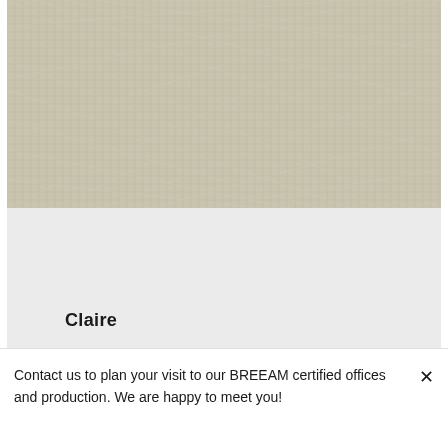[Figure (photo): Close-up texture of a woven fabric or linen material in beige/tan tones with a grid-like weave pattern]
Claire
Contact us to plan your visit to our BREEAM certified offices and production. We are happy to meet you!